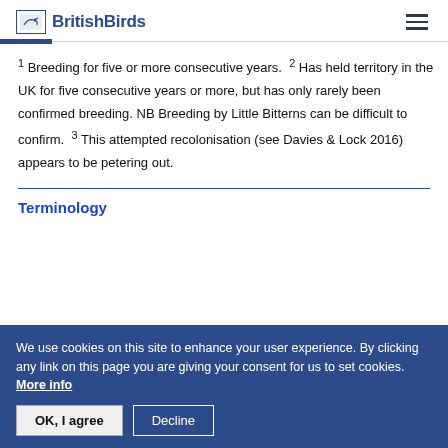BritishBirds
1 Breeding for five or more consecutive years. 2 Has held territory in the UK for five consecutive years or more, but has only rarely been confirmed breeding. NB Breeding by Little Bitterns can be difficult to confirm. 3 This attempted recolonisation (see Davies & Lock 2016) appears to be petering out.
Terminology
We use cookies on this site to enhance your user experience. By clicking any link on this page you are giving your consent for us to set cookies. More info